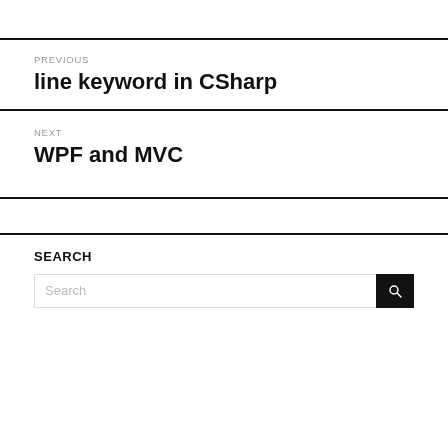PREVIOUS
line keyword in CSharp
NEXT
WPF and MVC
SEARCH